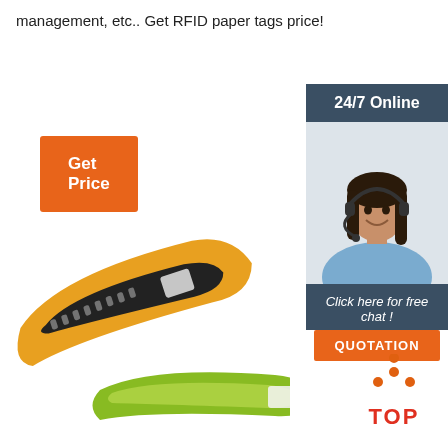management, etc.. Get RFID paper tags price!
[Figure (other): Orange 'Get Price' button]
[Figure (other): Customer service sidebar with '24/7 Online' header, photo of woman with headset, 'Click here for free chat!' text, and QUOTATION orange button]
[Figure (photo): Yellow/orange and green RFID wristbands]
[Figure (other): TOP icon with orange dots and red text]